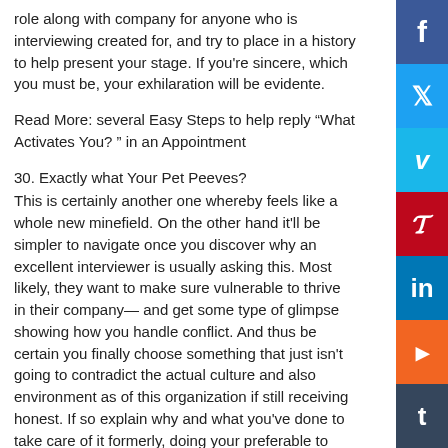role along with company for anyone who is interviewing created for, and try to place in a history to help present your stage. If you're sincere, which you must be, your exhilaration will be evidente.
Read More: several Easy Steps to help reply “What Activates You? ” in an Appointment
30. Exactly what Your Pet Peeves?
This is certainly another one whereby feels like a whole new minefield. On the other hand it'll be simpler to navigate once you discover why an excellent interviewer is usually asking this. Most likely, they want to make sure vulnerable to thrive in their company— and get some type of glimpse showing how you handle conflict. And thus be certain you finally choose something that just isn't going to contradict the actual culture and also environment as of this organization if still receiving honest. If so explain why and what you've done to take care of it formerly, doing your preferable to stay relaxed and created. Since excess fat need to supply something that annoys you, it is possible to keep this end result short and also sweet.
Continue on reading: 6 Approaches for Answering “What